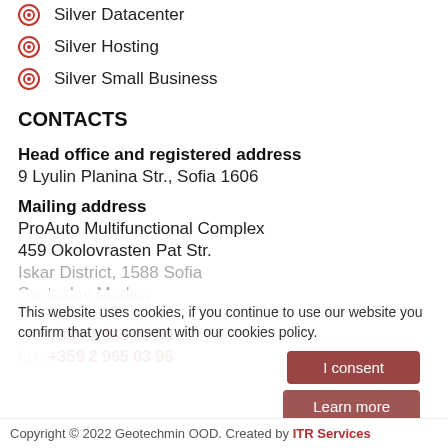Silver Datacenter
Silver Hosting
Silver Small Business
CONTACTS
Head office and registered address
9 Lyulin Planina Str., Sofia 1606
Mailing address
ProAuto Multifunctional Complex
459 Okolovrasten Pat Str.
Iskar District, 1588 Sofia
Svetoslav Markov
Manager
tel.: +359 2 965 03 50
fax: +359 2 965 03 96
This website uses cookies, if you continue to use our website you confirm that you consent with our cookies policy.
I consent
Learn more
Copyright © 2022 Geotechmin OOD. Created by ITR Services